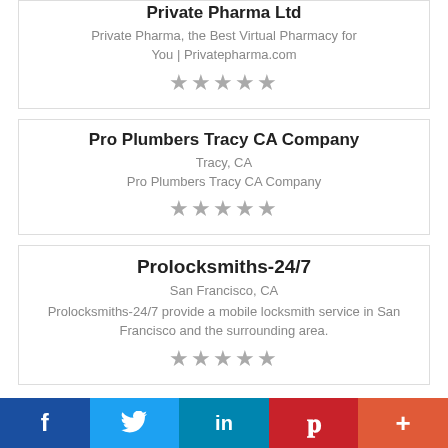Private Pharma Ltd
Private Pharma, the Best Virtual Pharmacy for You | Privatepharma.com
★★★★★
Pro Plumbers Tracy CA Company
Tracy, CA
Pro Plumbers Tracy CA Company
★★★★★
Prolocksmiths-24/7
San Francisco, CA
Prolocksmiths-24/7 provide a mobile locksmith service in San Francisco and the surrounding area.
★★★★★
f  Twitter  in  Pinterest  +